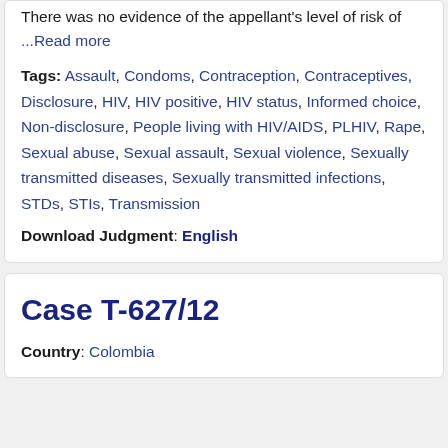There was no evidence of the appellant's level of risk of ...Read more
Tags: Assault, Condoms, Contraception, Contraceptives, Disclosure, HIV, HIV positive, HIV status, Informed choice, Non-disclosure, People living with HIV/AIDS, PLHIV, Rape, Sexual abuse, Sexual assault, Sexual violence, Sexually transmitted diseases, Sexually transmitted infections, STDs, STIs, Transmission
Download Judgment: English
Case T-627/12
Country: Colombia